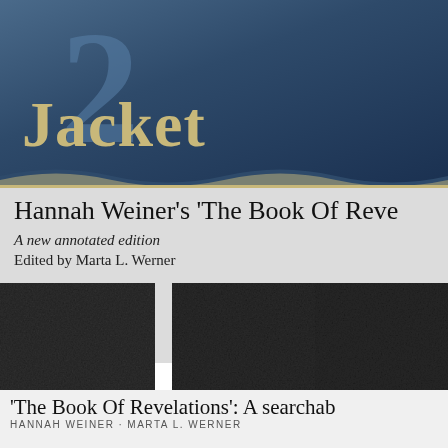[Figure (logo): Jacket2 logo: large numeral '2' in muted blue and 'Jacket' in gold text on dark blue gradient banner header]
Hannah Weiner's 'The Book Of Reve...
A new annotated edition
Edited by Marta L. Werner
[Figure (photo): Three dark textured book cover images arranged side by side on a light gray background]
'The Book Of Revelations': A searchab...
HANNAH WEINER · MARTA L. WERNER